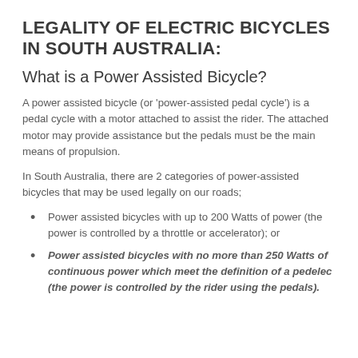LEGALITY OF ELECTRIC BICYCLES IN SOUTH AUSTRALIA:
What is a Power Assisted Bicycle?
A power assisted bicycle (or 'power-assisted pedal cycle') is a pedal cycle with a motor attached to assist the rider. The attached motor may provide assistance but the pedals must be the main means of propulsion.
In South Australia, there are 2 categories of power-assisted bicycles that may be used legally on our roads;
Power assisted bicycles with up to 200 Watts of power (the power is controlled by a throttle or accelerator); or
Power assisted bicycles with no more than 250 Watts of continuous power which meet the definition of a pedelec (the power is controlled by the rider using the pedals).